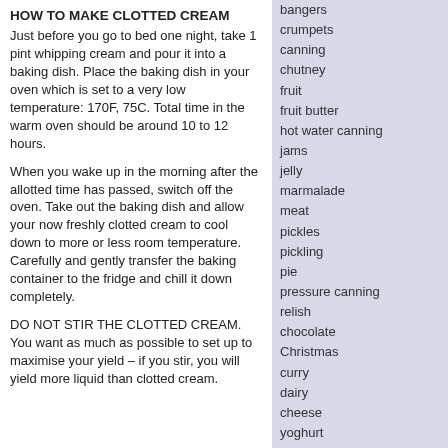HOW TO MAKE CLOTTED CREAM
Just before you go to bed one night, take 1 pint whipping cream and pour it into a baking dish. Place the baking dish in your oven which is set to a very low temperature: 170F, 75C. Total time in the warm oven should be around 10 to 12 hours.
When you wake up in the morning after the allotted time has passed, switch off the oven. Take out the baking dish and allow your now freshly clotted cream to cool down to more or less room temperature. Carefully and gently transfer the baking container to the fridge and chill it down completely.
DO NOT STIR THE CLOTTED CREAM. You want as much as possible to set up to maximise your yield – if you stir, you will yield more liquid than clotted cream.
bangers
crumpets
canning
chutney
fruit
fruit butter
hot water canning
jams
jelly
marmalade
meat
pickles
pickling
pie
pressure canning
relish
chocolate
Christmas
curry
dairy
cheese
yoghurt
dehydration
dessert
frugal living
gluten free
Indian food
keto friendly
links
pectin